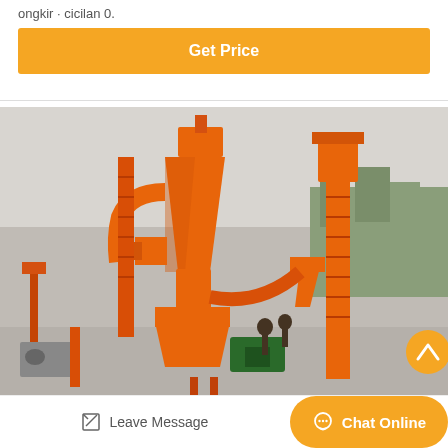ongkir · cicilan 0.
Get Price
[Figure (photo): Industrial milling/grinding machine with large orange cyclone separator funnel and vertical conveyor system, photographed outdoors against a concrete wall backdrop with trees in background. Workers visible at the base.]
Leave Message
Chat Online